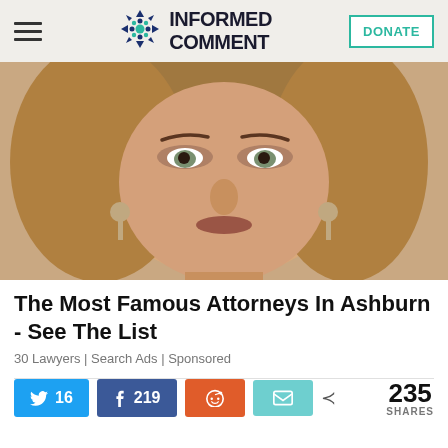INFORMED COMMENT | DONATE
[Figure (photo): Close-up portrait photo of a woman with blonde hair, green eyes, and dangling earrings against a blurred background.]
The Most Famous Attorneys In Ashburn - See The List
30 Lawyers | Search Ads | Sponsored